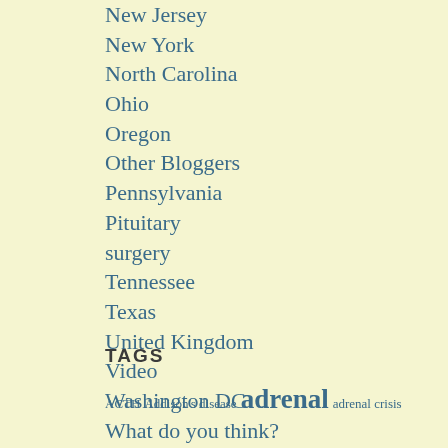New Jersey
New York
North Carolina
Ohio
Oregon
Other Bloggers
Pennsylvania
Pituitary surgery
Tennessee
Texas
United Kingdom
Video
Washington DC
What do you think?
Wisconsin
TAGS
ACTH Addison's disease adrenal adrenal crisis